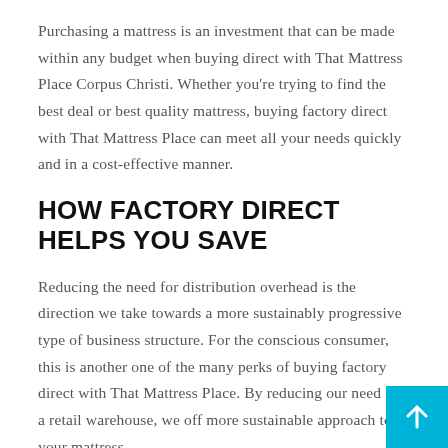Purchasing a mattress is an investment that can be made within any budget when buying direct with That Mattress Place Corpus Christi. Whether you're trying to find the best deal or best quality mattress, buying factory direct with That Mattress Place can meet all your needs quickly and in a cost-effective manner.
HOW FACTORY DIRECT HELPS YOU SAVE
Reducing the need for distribution overhead is the direction we take towards a more sustainably progressive type of business structure. For the conscious consumer, this is another one of the many perks of buying factory direct with That Mattress Place. By reducing our need for a retail warehouse, we off more sustainable approach to your mattress